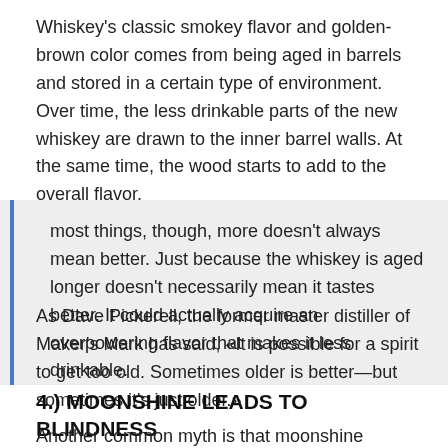Whiskey's classic smokey flavor and golden-brown color comes from being aged in barrels and stored in a certain type of environment. Over time, the less drinkable parts of the new whiskey are drawn to the inner barrel walls. At the same time, the wood starts to add to the overall flavor.
most things, though, more doesn't always mean better. Just because the whiskey is aged longer doesn't necessarily mean it tastes better. It could actually acquire an overpowering flavor that makes it less drinkable.
As Dave Pickerell, the former master distiller of Maker's Mark has said, «It is possible for a spirit to get too old. Sometimes older is better—but sometimes it's just older.»
4.) MOONSHINE LEADS TO BLINDNESS
Another common myth is that moonshine causes blindness.